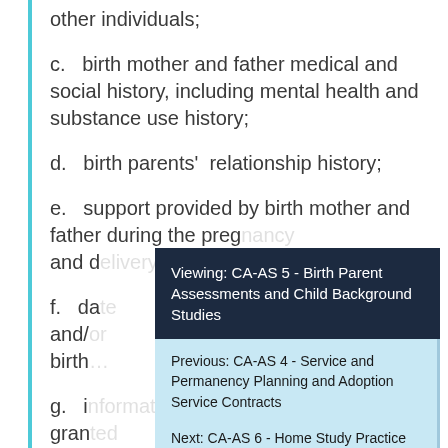other individuals;
c.  birth mother and father medical and social history, including mental health and substance use history;
d.  birth parents' relationship history;
e.  support provided by birth mother and father during the preg... and d...
f.  da... and/... birth...
g.  i... gran...
Viewing: CA-AS 5 - Birth Parent Assessments and Child Background Studies
Previous: CA-AS 4 - Service and Permanency Planning and Adoption Service Contracts
Next: CA-AS 6 - Home Study Practice